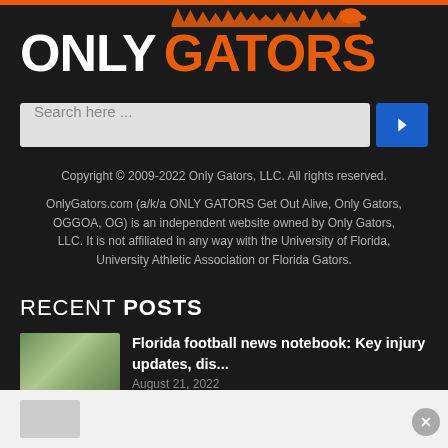[Figure (logo): Only Gators logo — 'ONLY' in white bold text and 'GATORS' in orange bold text with a decorative gator silhouette above]
[Figure (screenshot): Search input field with placeholder 'Search here ...' and a blue button with a right-arrow chevron]
Copyright © 2009-2022 Only Gators, LLC. All rights reserved.
OnlyGators.com (a/k/a ONLY GATORS Get Out Alive, Only Gators, OGGOA, OG) is an independent website owned by Only Gators, LLC. It is not affiliated in any way with the University of Florida, University Athletic Association or Florida Gators.
RECENT POSTS
Florida football news notebook: Key injury updates, dis...
August 21, 2022